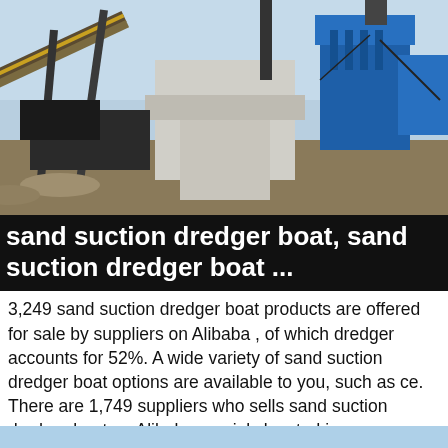[Figure (photo): Industrial photo of a sand dredging or mining facility with blue machinery, conveyor belts, and concrete structures under a clear sky.]
sand suction dredger boat, sand suction dredger boat ...
3,249 sand suction dredger boat products are offered for sale by suppliers on Alibaba , of which dredger accounts for 52%. A wide variety of sand suction dredger boat options are available to you, such as ce. There are 1,749 suppliers who sells sand suction dredger boat on Alibaba , mainly located in ...
More Details